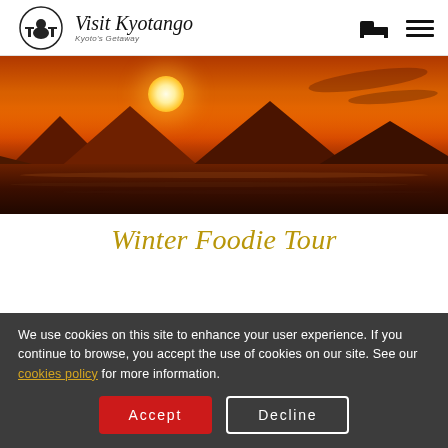Visit Kyotango — Kyoto's Getaway
[Figure (photo): Dramatic orange sunset over ocean with mountains and waves]
Winter Foodie Tour
We use cookies on this site to enhance your user experience. If you continue to browse, you accept the use of cookies on our site. See our cookies policy for more information.